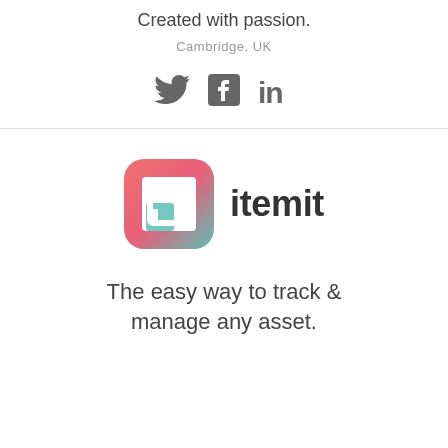Created with passion.
Cambridge, UK
[Figure (illustration): Social media icons: Twitter bird, Facebook F, LinkedIn 'in' — all in dark grey]
[Figure (logo): itemit logo — rounded square icon with pink-to-teal gradient and bracket symbol, plus 'itemit' wordmark in bold dark text]
The easy way to track & manage any asset.